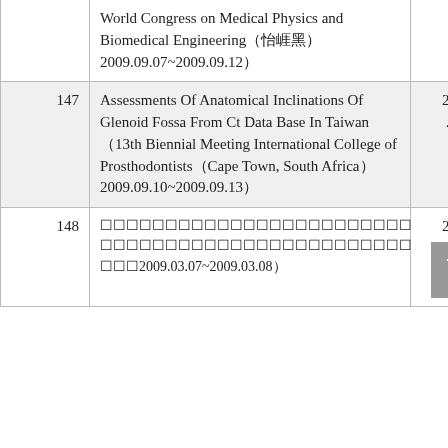| # | Conference/Event | Date |
| --- | --- | --- |
|  | World Congress on Medical Physics and Biomedical Engineering（慕尼黑）2009.09.07~2009.09.12） |  |
| 147 | Assessments Of Anatomical Inclinations Of Glenoid Fossa From Ct Data Base In Taiwan（13th Biennial Meeting International College of Prosthodontists（Cape Town, South Africa） 2009.09.10~2009.09.13） | 2009. 09 |
| 148 | （Chinese text）2009.03.07~2009.03.08） | 2009. 03 |